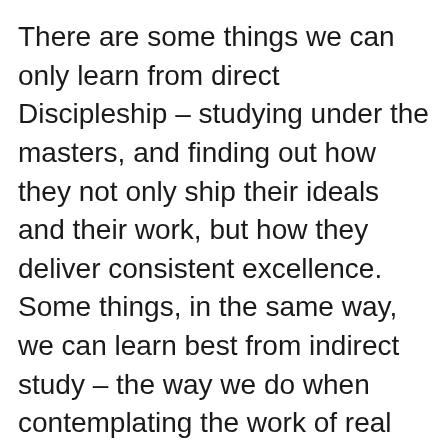There are some things we can only learn from direct Discipleship – studying under the masters, and finding out how they not only ship their ideals and their work, but how they deliver consistent excellence. Some things, in the same way, we can learn best from indirect study – the way we do when contemplating the work of real thought leaders like Kierkegaard, Tacitus, the Stoics – just to name a few.
So I'll pass it back to you – who are your great leaders? Those you've worked with,